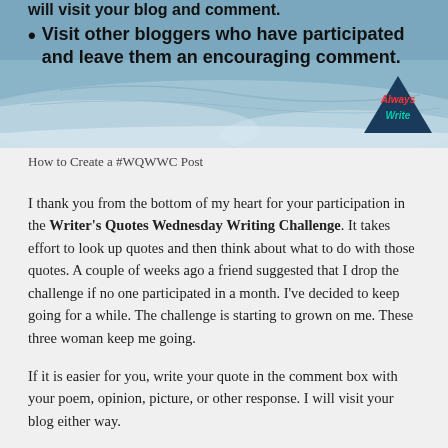[Figure (photo): A winter snowy landscape image with overlaid bold text listing blogging challenge instructions, and an 'Always Write' logo triangle in the lower right corner.]
How to Create a #WQWWC Post
I thank you from the bottom of my heart for your participation in the Writer's Quotes Wednesday Writing Challenge. It takes effort to look up quotes and then think about what to do with those quotes. A couple of weeks ago a friend suggested that I drop the challenge if no one participated in a month. I've decided to keep going for a while. The challenge is starting to grown on me. These three woman keep me going.
If it is easier for you, write your quote in the comment box with your poem, opinion, picture, or other response. I will visit your blog either way.